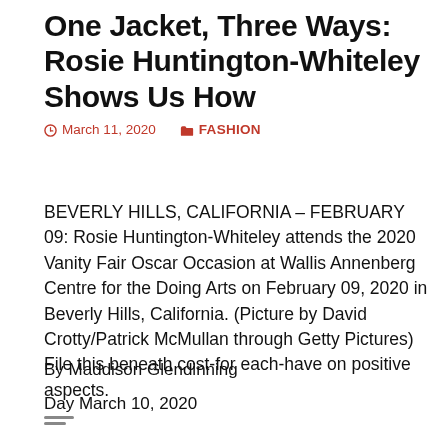One Jacket, Three Ways: Rosie Huntington-Whiteley Shows Us How
March 11, 2020   FASHION
BEVERLY HILLS, CALIFORNIA – FEBRUARY 09: Rosie Huntington-Whiteley attends the 2020 Vanity Fair Oscar Occasion at Wallis Annenberg Centre for the Doing Arts on February 09, 2020 in Beverly Hills, California. (Picture by David Crotty/Patrick McMullan through Getty Pictures) File this beneath cost-for each-have on positive aspects.
By Maddison Glendinning
Day March 10, 2020